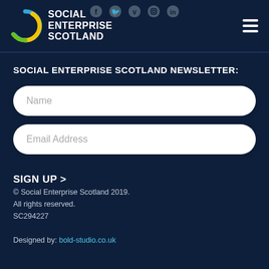[Figure (logo): Social Enterprise Scotland logo with crescent/circle icon and white text]
SOCIAL ENTERPRISE SCOTLAND NEWSLETTER:
Name
Email Address
SIGN UP >
© Social Enterprise Scotland 2019.
All rights reserved.
SC294227

Designed by: bold-studio.co.uk